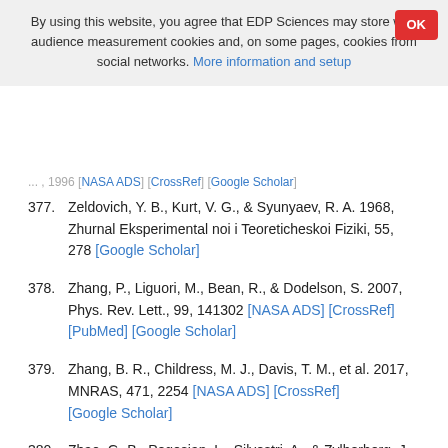By using this website, you agree that EDP Sciences may store web audience measurement cookies and, on some pages, cookies from social networks. More information and setup
377. Zeldovich, Y. B., Kurt, V. G., & Syunyaev, R. A. 1968, Zhurnal Eksperimental noi i Teoreticheskoi Fiziki, 55, 278 [Google Scholar]
378. Zhang, P., Liguori, M., Bean, R., & Dodelson, S. 2007, Phys. Rev. Lett., 99, 141302 [NASA ADS] [CrossRef] [PubMed] [Google Scholar]
379. Zhang, B. R., Childress, M. J., Davis, T. M., et al. 2017, MNRAS, 471, 2254 [NASA ADS] [CrossRef] [Google Scholar]
380. Zhao, G.-B., Pogosian, L., Silvestri, A., & Zylberberg, J. 2009, Phys. Rev. D, 79, 083513 [NASA ADS] [CrossRef] [Google Scholar]